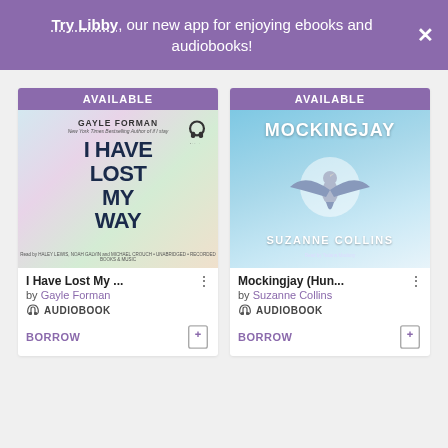Try Libby, our new app for enjoying ebooks and audiobooks!
[Figure (screenshot): Book cover: I Have Lost My Way by Gayle Forman, audiobook]
[Figure (screenshot): Book cover: Mockingjay by Suzanne Collins, audiobook]
I Have Lost My ...
by Gayle Forman
AUDIOBOOK
BORROW
Mockingjay (Hun...
by Suzanne Collins
AUDIOBOOK
BORROW